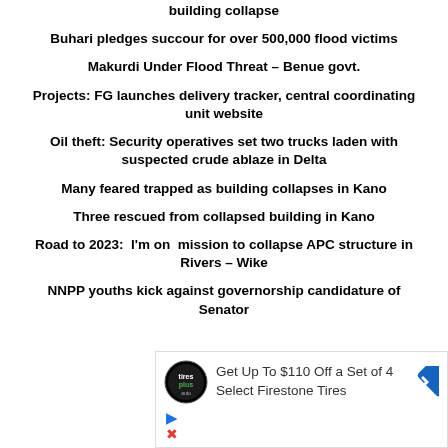building collapse
Buhari pledges succour for over 500,000 flood victims
Makurdi Under Flood Threat – Benue govt.
Projects: FG launches delivery tracker, central coordinating unit website
Oil theft: Security operatives set two trucks laden with suspected crude ablaze in Delta
Many feared trapped as building collapses in Kano
Three rescued from collapsed building in Kano
Road to 2023:  I'm on  mission to collapse APC structure in Rivers – Wike
NNPP youths kick against governorship candidature of Senator
[Figure (infographic): Advertisement: Get Up To $110 Off a Set of 4 Select Firestone Tires - Tires Plus Auto logo and navigation arrow icon]